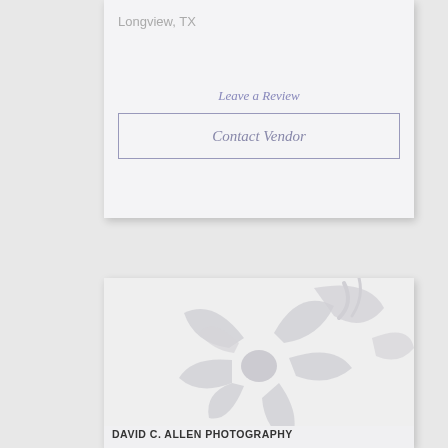Longview, TX
Leave a Review
Contact Vendor
[Figure (illustration): Placeholder flower/daisy illustration in light gray on a light gray background, used as a vendor image placeholder]
David C. Allen Photography